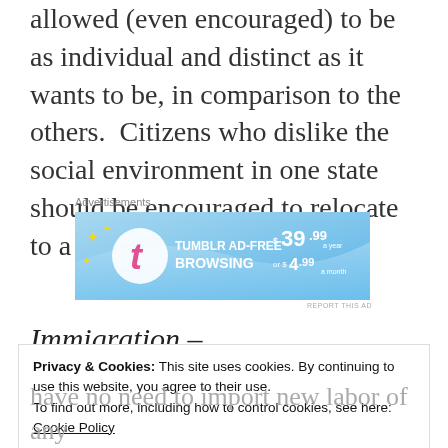allowed (even encouraged) to be as individual and distinct as it wants to be, in comparison to the others.  Citizens who dislike the social environment in one state should be encouraged to relocate to a state more to their liking.
[Figure (other): Tumblr Ad-Free Browsing advertisement banner: $39.99 a year or $4.99 a month]
Immigration –
Privacy & Cookies: This site uses cookies. By continuing to use this website, you agree to their use.
To find out more, including how to control cookies, see here:
Cookie Policy
Close and accept
have no need to import new labor of any